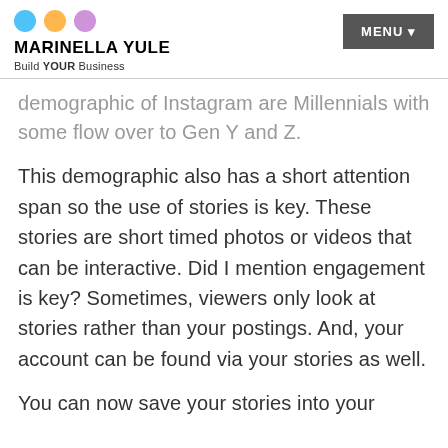MARINELLA YULE — Build YOUR Business
demographic of Instagram are Millennials with some flow over to Gen Y and Z.
This demographic also has a short attention span so the use of stories is key. These stories are short timed photos or videos that can be interactive. Did I mention engagement is key? Sometimes, viewers only look at stories rather than your postings. And, your account can be found via your stories as well.
You can now save your stories into your